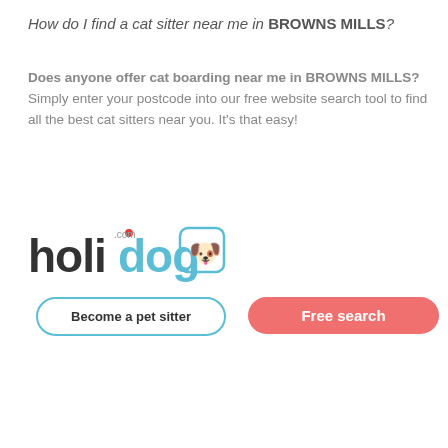How do I find a cat sitter near me in BROWNS MILLS?
Does anyone offer cat boarding near me in BROWNS MILLS? Simply enter your postcode into our free website search tool to find all the best cat sitters near you. It's that easy!
[Figure (logo): Holidog.com logo with a cartoon dog wearing sunglasses in a rounded square border]
Become a pet sitter
Free search